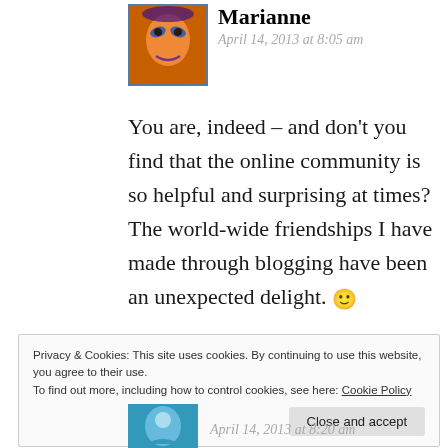Marianne
April 14, 2013 at 8:05 am
You are, indeed – and don't you find that the online community is so helpful and surprising at times? The world-wide friendships I have made through blogging have been an unexpected delight. 🙂
Privacy & Cookies: This site uses cookies. By continuing to use this website, you agree to their use.
To find out more, including how to control cookies, see here: Cookie Policy
Close and accept
April 14, 2013 at 8:20 am